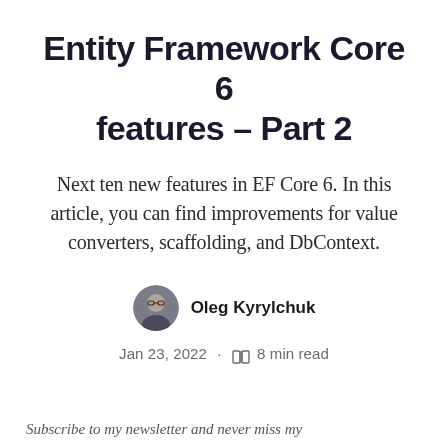Entity Framework Core 6 features – Part 2
Next ten new features in EF Core 6. In this article, you can find improvements for value converters, scaffolding, and DbContext.
[Figure (photo): Circular avatar photo of author Oleg Kyrylchuk, a man with glasses]
Oleg Kyrylchuk
Jan 23, 2022 · 8 min read
Subscribe to my newsletter and never miss my